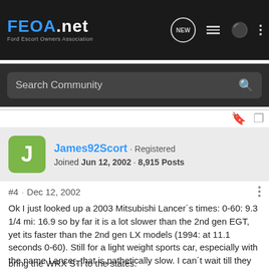FEOA.net — Ford Escort Owners Association
Search Community
James92Scort · Registered
Joined Jun 12, 2002 · 8,915 Posts
#4 · Dec 12, 2002
Ok I just looked up a 2003 Mitsubishi Lancer´s times: 0-60: 9.3 1/4 mi: 16.9 so by far it is a lot slower than the 2nd gen EGT, yet its faster than the 2nd gen LX models (1994: at 11.1 seconds 0-60). Still for a light weight sports car, especially with the name Lancer, that is pathetically slow. I can´t wait till they bring the Lancer EVOLUTION model to the states, that is going to tear my dream car (the WRX) to pieces. Until they finally
bring the WRX STi to the states.